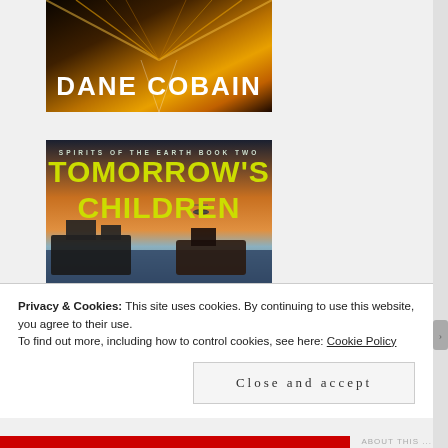[Figure (illustration): Book cover for Dane Cobain showing 'DANE COBAIN' text in white bold letters on a background of golden light streaks/road perspective]
[Figure (illustration): Book cover for 'Tomorrow's Children' - Spirits of the Earth Book Two, with large yellow-green bold title text over a post-apocalyptic ocean scene with wrecked ships and a helicopter]
Privacy & Cookies: This site uses cookies. By continuing to use this website, you agree to their use.
To find out more, including how to control cookies, see here: Cookie Policy
Close and accept